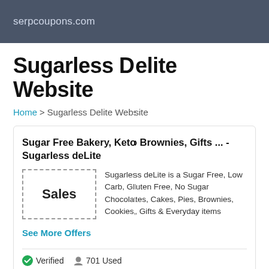serpcoupons.com
Sugarless Delite Website
Home > Sugarless Delite Website
Sugar Free Bakery, Keto Brownies, Gifts ... - Sugarless deLite
Sales
Sugarless deLite is a Sugar Free, Low Carb, Gluten Free, No Sugar Chocolates, Cakes, Pies, Brownies, Cookies, Gifts & Everyday items
See More Offers
Verified  701 Used
Get Deals Link